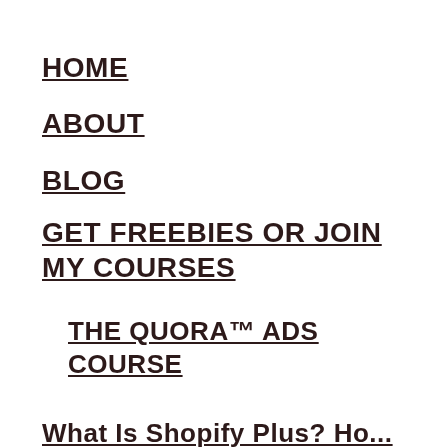HOME
ABOUT
BLOG
GET FREEBIES OR JOIN MY COURSES
THE QUORA™ ADS COURSE
What Is Shopify Plus? How...